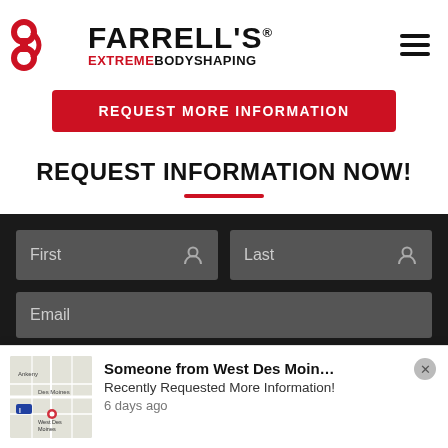[Figure (logo): Farrell's Extreme Bodyshaping logo with red dumbbell icon and black bold text]
[Figure (other): Hamburger menu icon (three horizontal lines)]
REQUEST MORE INFORMATION
REQUEST INFORMATION NOW!
[Figure (screenshot): Web form with First name, Last name, and Email input fields on dark background]
Someone from West Des Moin…
Recently Requested More Information!
6 days ago